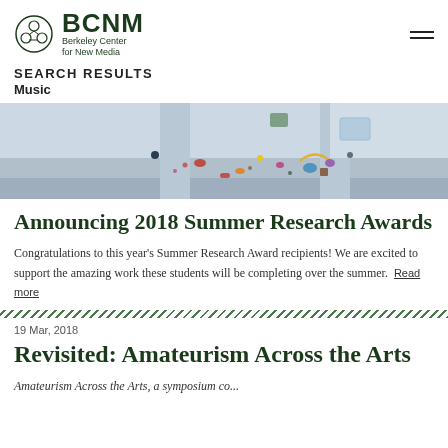BCNM Berkeley Center for New Media
SEARCH RESULTS
Music
[Figure (illustration): Colorful illustrated image showing scattered objects including geometric shapes, small figures, and decorative elements on a light blue/grey background.]
Announcing 2018 Summer Research Awards
Congratulations to this year's Summer Research Award recipients! We are excited to support the amazing work these students will be completing over the summer. Read more
19 Mar, 2018
Revisited: Amateurism Across the Arts
Amateurism Across the Arts, a symposium co...